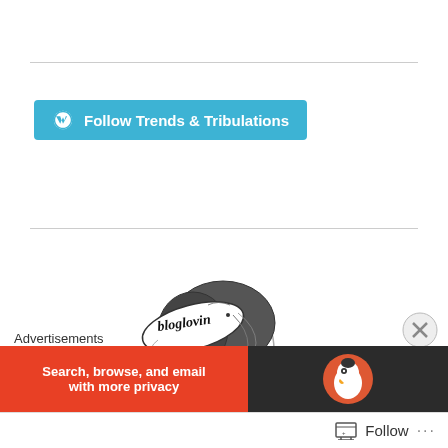[Figure (illustration): WordPress Follow button with blue background reading 'Follow Trends & Tribulations' with WordPress logo icon]
[Figure (illustration): Bloglovin logo illustration: a stylized fashion illustration of a woman with an upswept hairstyle, wearing a hat with 'bloglovin' written on it, looking to the left profile, monochrome ink drawing style]
Advertisements
[Figure (screenshot): Advertisement banner: orange/red background with text 'Search, browse, and email with more privacy' and DuckDuckGo logo on dark right panel]
[Figure (other): Close/dismiss button (circled X) for advertisement]
[Figure (other): WordPress Follow bar at bottom with follow icon and 'Follow' text and '...' options]